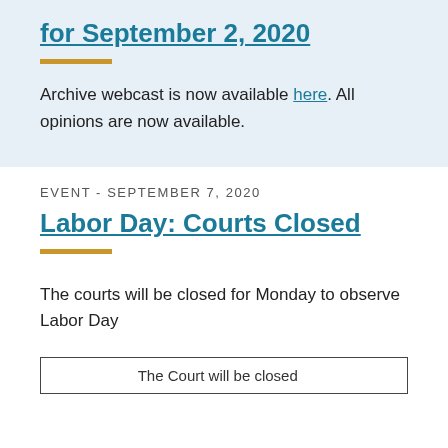for September 2, 2020
Archive webcast is now available here. All opinions are now available.
EVENT - SEPTEMBER 7, 2020
Labor Day: Courts Closed
The courts will be closed for Monday to observe Labor Day
[Figure (other): Partial box preview at bottom of page with partial text 'The Court will be closed...']